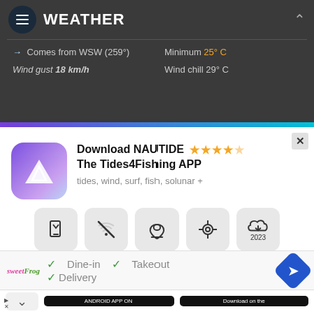WEATHER
Comes from WSW (259°)
Minimum 25° C
Wind gust 18 km/h
Wind chill 29° C
[Figure (screenshot): NAUTIDE app advertisement popup with app icon, 4.5 star rating, subtitle 'tides, wind, surf, fish, solunar +', feature icons row, and 'Now available' text]
Download NAUTIDE The Tides4Fishing APP
tides, wind, surf, fish, solunar +
Now available
Dine-in  Takeout  Delivery